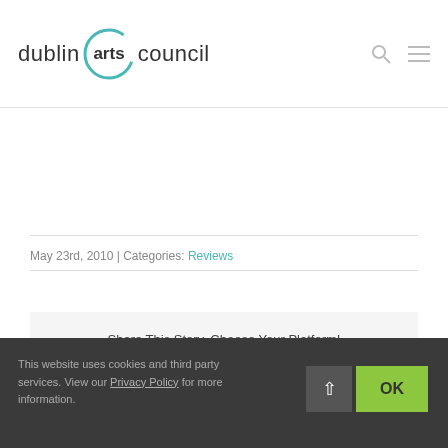[Figure (logo): Dublin Arts Council logo with teal circle containing 'arts' in bold, flanked by 'dublin' and 'council' in regular weight]
May 23rd, 2010  |  Categories: Reviews
Share This Story, Choose Your Platform!
This website uses cookies and third party services. View our Privacy Policy for more information.